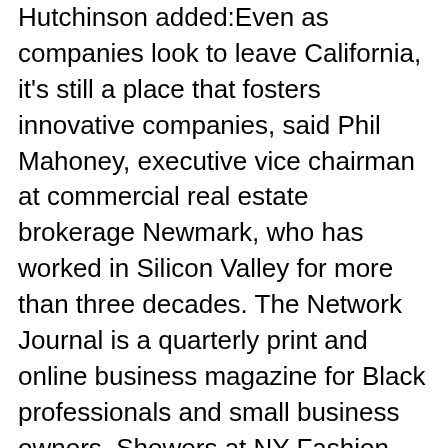Hutchinson added:Even as companies look to leave California, it's still a place that fosters innovative companies, said Phil Mahoney, executive vice chairman at commercial real estate brokerage Newmark, who has worked in Silicon Valley for more than three decades. The Network Journal is a quarterly print and online business magazine for Black professionals and small business owners. Showers at NY Fashion Week, spring in their steps, Millions in SF health fees don't go to workers, Consider These Key Points Before Starting a Business, How to Turn Your Retirement Savings into Retirement Income. Get the latest updates and exclusives content straight to your email box. 1. Another way of classifying consumer magazines is by distribution: They can be sold through subscription or circulation, store distribution, or both. Fortunately, Wall Streets analysts are busy separating the wheat from the chaff among the market's low-priced stocks, and some top stock experts have tagged several equities for big gains. However, there is very little profit in this type of sale, called single copy sale, once you factor in the price it costs to make the magazine, the cost to transport it to